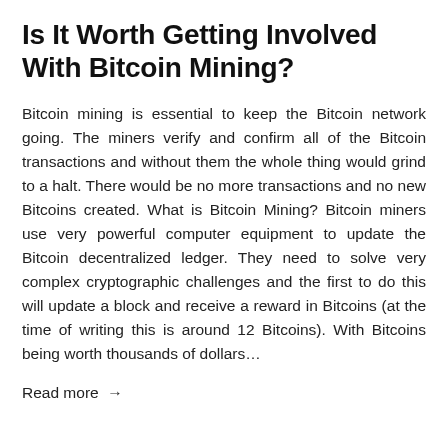Is It Worth Getting Involved With Bitcoin Mining?
Bitcoin mining is essential to keep the Bitcoin network going. The miners verify and confirm all of the Bitcoin transactions and without them the whole thing would grind to a halt. There would be no more transactions and no new Bitcoins created. What is Bitcoin Mining? Bitcoin miners use very powerful computer equipment to update the Bitcoin decentralized ledger. They need to solve very complex cryptographic challenges and the first to do this will update a block and receive a reward in Bitcoins (at the time of writing this is around 12 Bitcoins). With Bitcoins being worth thousands of dollars...
Read more →